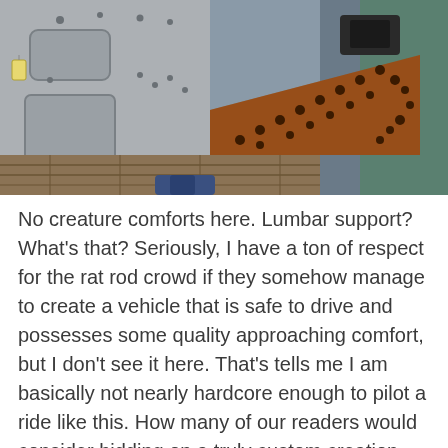[Figure (photo): Interior of a stripped-down rat rod vehicle showing bare rusted metal panels with holes, wooden floor boards, and a perforated triangular rusted metal piece leaning against the wall. The vehicle interior is completely gutted with no seats or creature comforts visible.]
No creature comforts here. Lumbar support? What's that? Seriously, I have a ton of respect for the rat rod crowd if they somehow manage to create a vehicle that is safe to drive and possesses some quality approaching comfort, but I don't see it here. That's tells me I am basically not nearly hardcore enough to pilot a ride like this. How many of our readers would consider bidding on a truly custom creation like the Midget Casket?